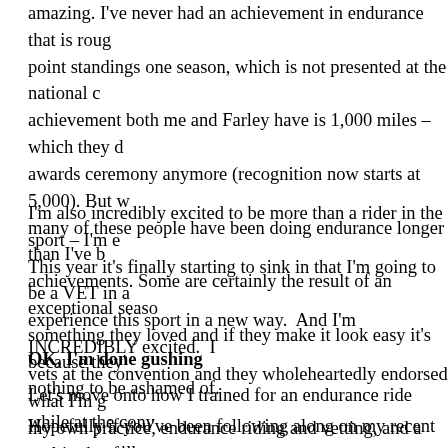amazing. I've never had an achievement in endurance that is rough point standings one season, which is not presented at the national co achievement both me and Farley have is 1,000 miles – which they d awards ceremony anymore (recognition now starts at 5,000). But wh many of these people have been doing endurance longer than I've b achievements. Some are certainly the result of an exceptional seaso something they loved and if they make it look easy it's because they nothing to be ashamed of.
I'm also incredibly excited to be more than a rider in the sport – I'm e This year it's finally starting to sink in that I'm going to be a VET in a experience this sport in a new way. And I'm INCREDIBLY excited. I vets at the convention and they wholeheartedly endorsed what I'm g my own practice, endurance riding and vetting, and a multitude of oth have balance and the things I want most out of life) which is a huge r I'm going to come out of school at a place that it took them decades
OK, I'm done gushing
Let's move onto how I trained for an endurance ride while at the conv
Hopefully if you've been following along on my recent posts, you will event goes far beyond the physical and technical aspects. Any activ equilibrium can be used to your advantage – and I would encourage